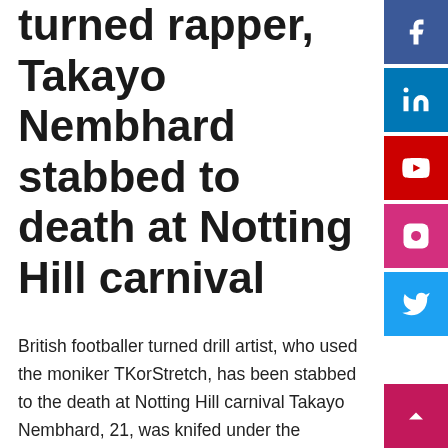turned rapper, Takayo Nembhard stabbed to death at Notting Hill carnival
British footballer turned drill artist, who used the moniker TKorStretch, has been stabbed to the death at Notting Hill carnival Takayo Nembhard, 21, was knifed under the Westway flyover close to Ladbroke Grove station at around 8pm on Monday, August 29,  with hundreds of people nearby. Police and paramedics gave him emergency treatment at the scene before he was taken to hospital where he was pronounced dead despite further efforts to save him. The rapper, who used the moniker TKorStretch, had travelled from Bristol to enjoy the annual event